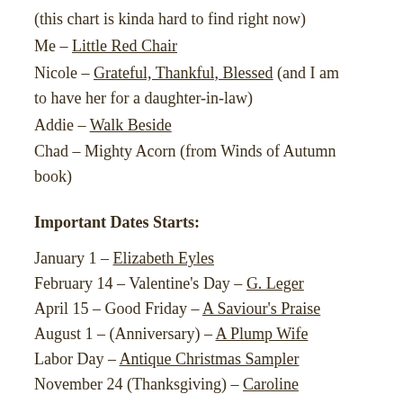(this chart is kinda hard to find right now)
Me – Little Red Chair
Nicole – Grateful, Thankful, Blessed (and I am to have her for a daughter-in-law)
Addie – Walk Beside
Chad – Mighty Acorn (from Winds of Autumn book)
Important Dates Starts:
January 1 – Elizabeth Eyles
February 14 – Valentine's Day – G. Leger
April 15 – Good Friday – A Saviour's Praise
August 1 – (Anniversary) – A Plump Wife
Labor Day – Antique Christmas Sampler
November 24 (Thanksgiving) – Caroline